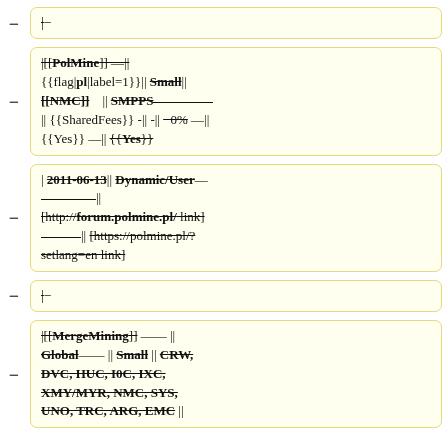− |−
|[[PolMine]] —|| {{flag|pl|label=1}}|| Small || [[NMC]] || SMPPS || {{SharedFees}} -|| -|| −0% —|| {{Yes}} —|| {{Yes}}
| 2011-06-13 || Dynamic/User —————|| [http://forum.polmine.pl/ link] ————|| [https://polmine.pl/?setlang=en link]
− |−
|[[MergeMining]] ——|| Global —— || Small || CRW, DVC, HUC, I0C, IXC, XMY/MYR, NMC, SYS, UNO, TRC, ARG, EMC ||